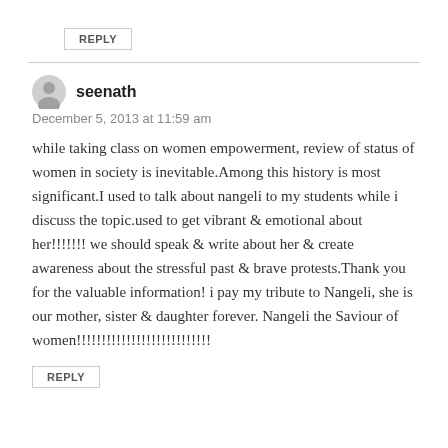REPLY
seenath
December 5, 2013 at 11:59 am
while taking class on women empowerment, review of status of women in society is inevitable.Among this history is most significant.I used to talk about nangeli to my students while i discuss the topic.used to get vibrant & emotional about her!!!!!!! we should speak & write about her & create awareness about the stressful past & brave protests.Thank you for the valuable information! i pay my tribute to Nangeli, she is our mother, sister & daughter forever. Nangeli the Saviour of women!!!!!!!!!!!!!!!!!!!!!!!!!!!
REPLY